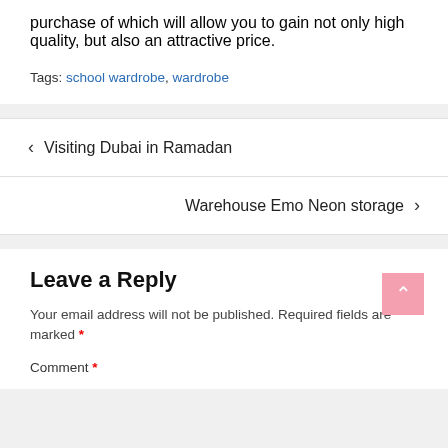purchase of which will allow you to gain not only high quality, but also an attractive price.
Tags: school wardrobe, wardrobe
< Visiting Dubai in Ramadan
Warehouse Emo Neon storage >
Leave a Reply
Your email address will not be published. Required fields are marked *
Comment *